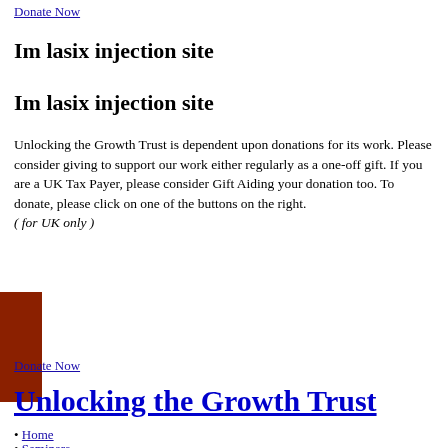Donate Now
Im lasix injection site
Im lasix injection site
Unlocking the Growth Trust is dependent upon donations for its work. Please consider giving to support our work either regularly as a one-off gift. If you are a UK Tax Payer, please consider Gift Aiding your donation too. To donate, please click on one of the buttons on the right.
( for UK only )
[Figure (other): Dark red/brown rectangular decorative element on left side]
Donate Now
Unlocking the Growth Trust
Home
Seminars